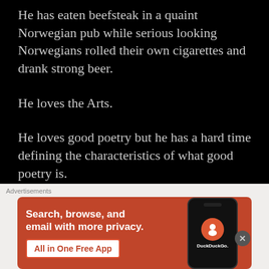He has eaten beefsteak in a quaint Norwegian pub while serious looking Norwegians rolled their own cigarettes and drank strong beer.
He loves the Arts.
He loves good poetry but he has a hard time defining the characteristics of what good poetry is.
He knows it when he feels it.
He loves music like it’s nobody’s business. He loves
[Figure (screenshot): DuckDuckGo advertisement banner with orange background, text 'Search, browse, and email with more privacy. All in One Free App' and a phone mockup showing DuckDuckGo logo]
Advertisements